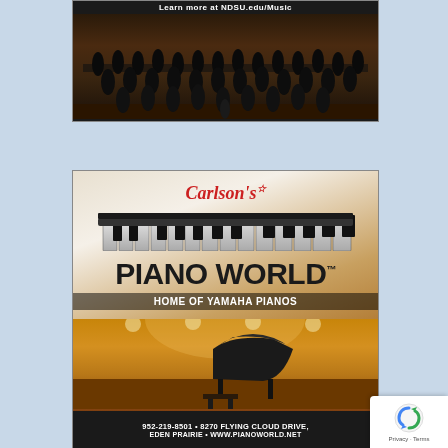[Figure (photo): NDSU Music advertisement showing a choir ensemble on stage with text 'Learn more at NDSU.edu/Music']
[Figure (photo): Carlson's Piano World advertisement - Home of Yamaha Pianos. Shows piano keys graphic, grand piano on stage, contact info: 952-219-8501, 8270 Flying Cloud Drive, Eden Prairie, www.pianoworld.net]